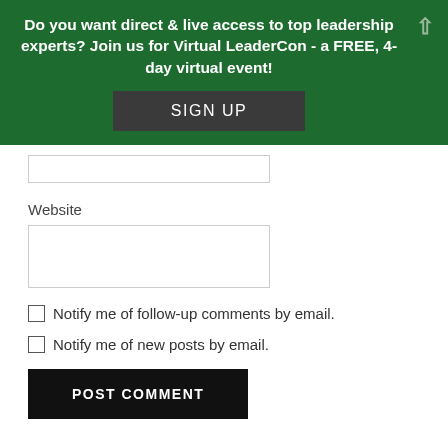Do you want direct & live access to top leadership experts? Join us for Virtual LeaderCon - a FREE, 4-day virtual event!
SIGN UP
Website
Notify me of follow-up comments by email.
Notify me of new posts by email.
POST COMMENT